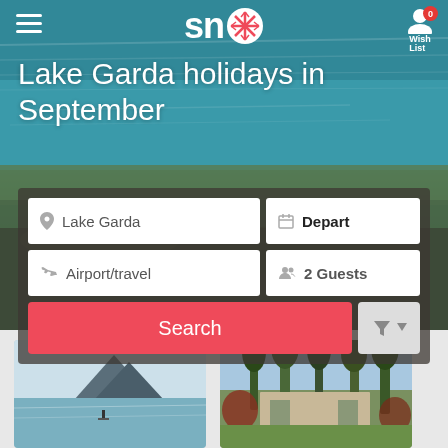[Figure (screenshot): SNO travel app screenshot showing Lake Garda holidays search page with hero image of lake, search form with location, departure, travel, and guest fields, search button, and thumbnail gallery below]
SNO — Wish List 0
Lake Garda holidays in September
Lake Garda | Depart | Airport/travel | 2 Guests
Search